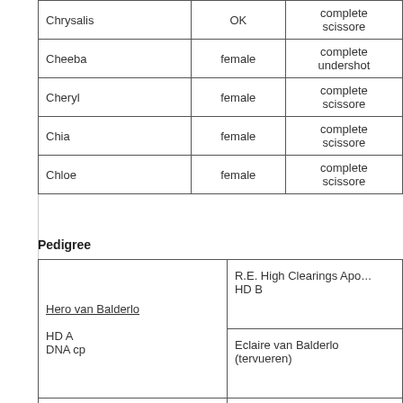| Name | Sex | Bite |
| --- | --- | --- |
| Chrysalis | OK | complete scissore |
| Cheeba | female | complete undershot |
| Cheryl | female | complete scissore |
| Chia | female | complete scissore |
| Chloe | female | complete scissore |
Pedigree
| Sire/Dam | Parents |
| --- | --- |
| Hero van Balderlo
HD A
DNA cp | R.E. High Clearings Apo...
HD B
---
Eclaire van Balderlo
(tervueren) |
| IntCh., SKCh., CZCh., PLCh.,
CZClubCh., SKClubCh., | Int.Ch., CZCh., SKCh.,
CZClubCh., SKClubCh.
Zealous Juvell z Kovámy
IPO3, IPO-V, VPG2, FP... |